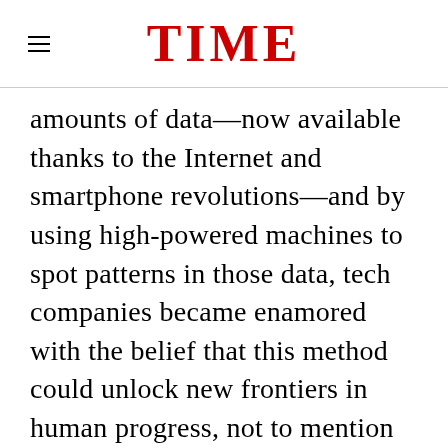TIME
amounts of data—now available thanks to the Internet and smartphone revolutions—and by using high-powered machines to spot patterns in those data, tech companies became enamored with the belief that this method could unlock new frontiers in human progress, not to mention billions of dollars in profits.